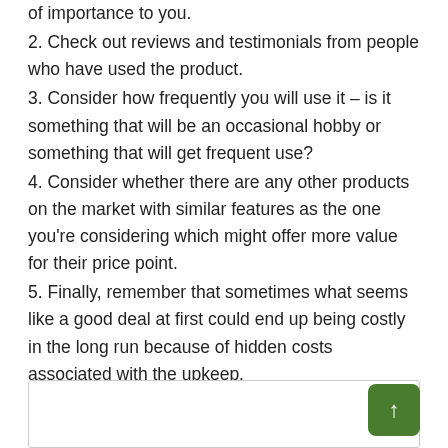of importance to you.
2. Check out reviews and testimonials from people who have used the product.
3. Consider how frequently you will use it – is it something that will be an occasional hobby or something that will get frequent use?
4. Consider whether there are any other products on the market with similar features as the one you're considering which might offer more value for their price point.
5. Finally, remember that sometimes what seems like a good deal at first could end up being costly in the long run because of hidden costs associated with the upkeep.